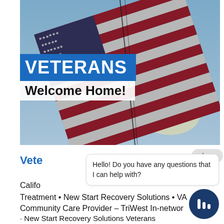[Figure (photo): American flag waving against a blue sky, with sunlight shining through, used as a hero banner image for a Veterans webpage.]
VETERANS
Welcome Home!
close
Vete
Hello! Do you have any questions that I can help with?
Califo
Treatment • New Start Recovery Solutions • VA
Community Care Provider – TriWest In-networ
· New Start Recovery Solutions Veterans
Programs · Veteran Challenges: Readjustment –